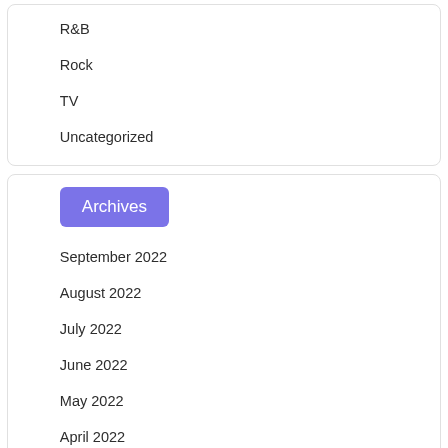R&B
Rock
TV
Uncategorized
Archives
September 2022
August 2022
July 2022
June 2022
May 2022
April 2022